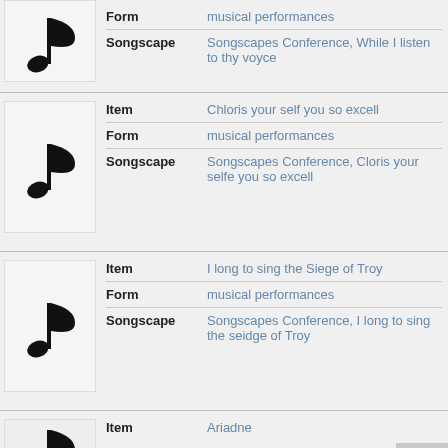Item: [partial top] | Form: musical performances | Songscape: Songscapes Conference, While I listen to thy voyce
Item: Chloris your self you so excell | Form: musical performances | Songscape: Songscapes Conference, Cloris your selfe you so excell
Item: I long to sing the Siege of Troy | Form: musical performances | Songscape: Songscapes Conference, I long to sing the seidge of Troy
Item: Ariadne